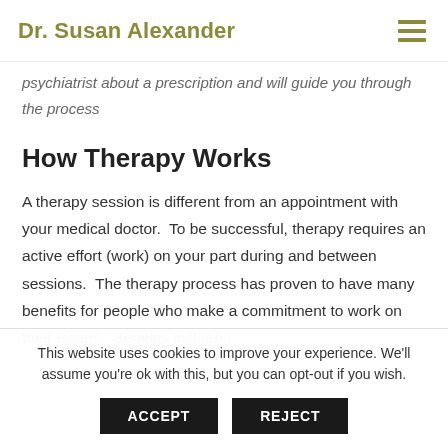Dr. Susan Alexander
psychiatrist about a prescription and will guide you through the process
How Therapy Works
A therapy session is different from an appointment with your medical doctor.  To be successful, therapy requires an active effort (work) on your part during and between sessions.  The therapy process has proven to have many benefits for people who make a commitment to work on their issues.  Benefits include...
This website uses cookies to improve your experience. We'll assume you're ok with this, but you can opt-out if you wish.